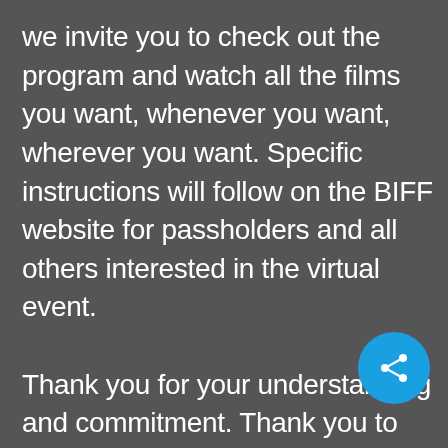we invite you to check out the program and watch all the films you want, whenever you want, wherever you want. Specific instructions will follow on the BIFF website for passholders and all others interested in the virtual event.

Thank you for your understanding and commitment. Thank you to our sponsors, theater partners, and business partners for their constant support through thick and thin. We look with hope toward a brighter